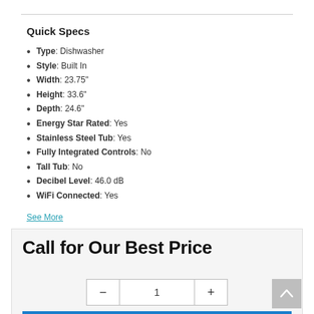Quick Specs
Type: Dishwasher
Style: Built In
Width: 23.75"
Height: 33.6"
Depth: 24.6"
Energy Star Rated: Yes
Stainless Steel Tub: Yes
Fully Integrated Controls: No
Tall Tub: No
Decibel Level: 46.0 dB
WiFi Connected: Yes
See More
Call for Our Best Price